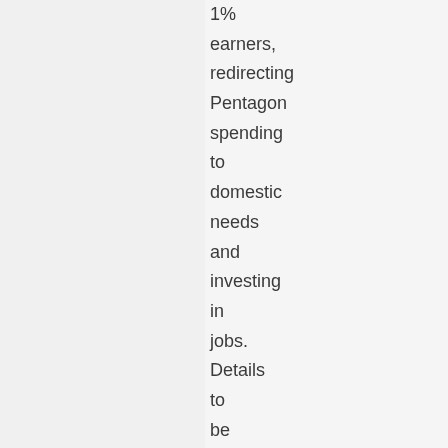1% earners, redirecting Pentagon spending to domestic needs and investing in jobs. Details to be announced.
Contact:
Elizabeth Mack, 313-964-4133,